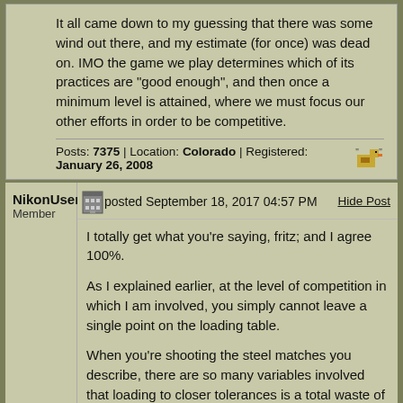It all came down to my guessing that there was some wind out there, and my estimate (for once) was dead on. IMO the game we play determines which of its practices are "good enough", and then once a minimum level is attained, where we must focus our other efforts in order to be competitive.
Posts: 7375 | Location: Colorado | Registered: January 26, 2008
NikonUser
Member
posted September 18, 2017 04:57 PM
Hide Post
I totally get what you're saying, fritz; and I agree 100%.
As I explained earlier, at the level of competition in which I am involved, you simply cannot leave a single point on the loading table.
When you're shooting the steel matches you describe, there are so many variables involved that loading to closer tolerances is a total waste of time. It's like measuring a cut to a fraction of an inch, guided by a laser, and then you use an ax to make the cut.
When shooting the matches I participate in, the paper tells the story and it's 15 to 20 rounds on the same paper in one string. The difference between an X and a 9 at 1000 yards is 2.5 inches; 1/4 MOA.